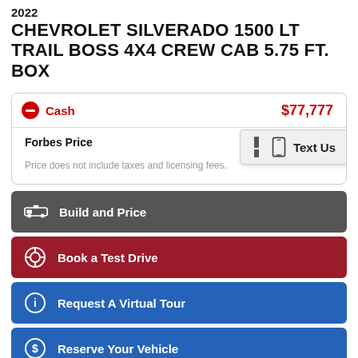2022 CHEVROLET SILVERADO 1500 LT TRAIL BOSS 4X4 CREW CAB 5.75 FT. BOX
Cash $77,777
Forbes Price
Price does not include taxes and licensing fees.
Build and Price
Book a Test Drive
Request A Virtual Tour
Reserve Your Vehicle
Value My Trade